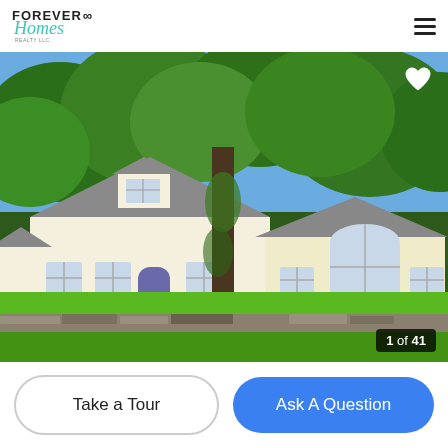[Figure (logo): Forever Homes realty logo with infinity symbol and teal script]
[Figure (photo): Exterior photo of a white/yellow Cape Cod style house with dark shingled roof, surrounded by lush green trees, with a stone wall in the foreground. Photo counter shows 1 of 41.]
Take a Tour
Ask A Question